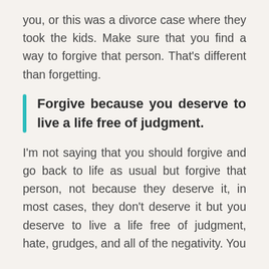you, or this was a divorce case where they took the kids. Make sure that you find a way to forgive that person. That's different than forgetting.
Forgive because you deserve to live a life free of judgment.
I'm not saying that you should forgive and go back to life as usual but forgive that person, not because they deserve it, in most cases, they don't deserve it but you deserve to live a life free of judgment, hate, grudges, and all of the negativity. You